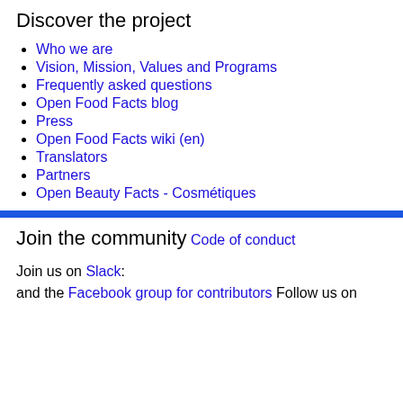Discover the project
Who we are
Vision, Mission, Values and Programs
Frequently asked questions
Open Food Facts blog
Press
Open Food Facts wiki (en)
Translators
Partners
Open Beauty Facts - Cosmétiques
Join the community
Code of conduct
Join us on Slack: and the Facebook group for contributors Follow us on